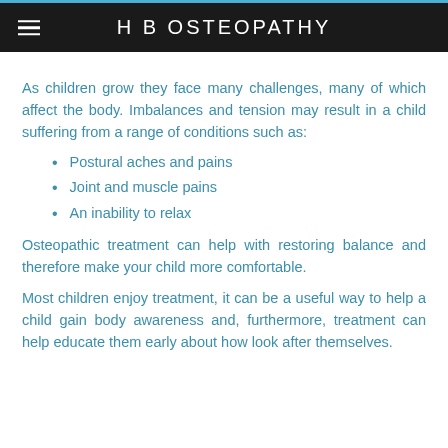H B OSTEOPATHY
As children grow they face many challenges, many of which affect the body. Imbalances and tension may result in a child suffering from a range of conditions such as:
Postural aches and pains
Joint and muscle pains
An inability to relax
Osteopathic treatment can help with restoring balance and therefore make your child more comfortable.
Most children enjoy treatment, it can be a useful way to help a child gain body awareness and, furthermore, treatment can help educate them early about how look after themselves.